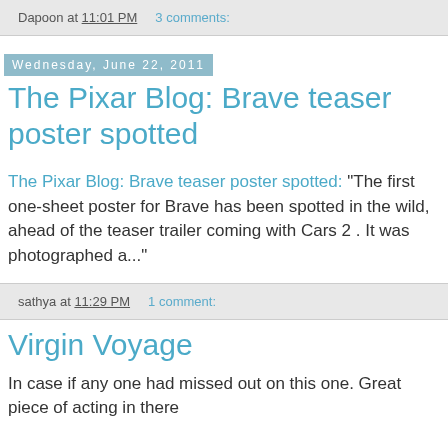Dapoon at 11:01 PM   3 comments:
Wednesday, June 22, 2011
The Pixar Blog: Brave teaser poster spotted
The Pixar Blog: Brave teaser poster spotted: "The first one-sheet poster for Brave has been spotted in the wild, ahead of the teaser trailer coming with Cars 2 . It was photographed a..."
sathya at 11:29 PM   1 comment:
Virgin Voyage
In case if any one had missed out on this one. Great piece of acting in there